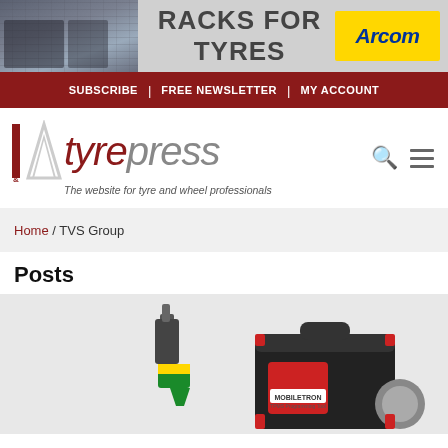[Figure (photo): Banner advertisement for Arcom racks for tyres, showing warehouse shelving with text 'RACKS FOR TYRES' and yellow Arcom logo]
SUBSCRIBE | FREE NEWSLETTER | MY ACCOUNT
[Figure (logo): I&A Tyrepress logo with red and grey branding and tagline 'The website for tyre and wheel professionals']
Home / TVS Group
Posts
[Figure (photo): Photo of Mobiletron TPMS programming tool with drill and case]